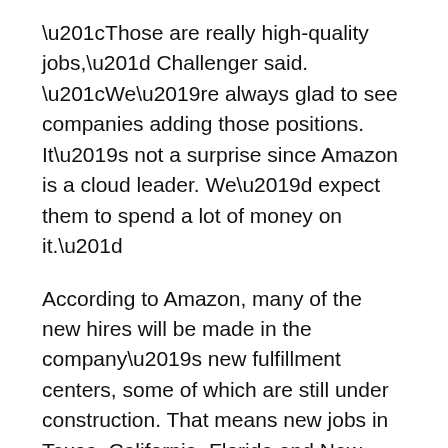“Those are really high-quality jobs,” Challenger said. “We’re always glad to see companies adding those positions. It’s not a surprise since Amazon is a cloud leader. We’d expect them to spend a lot of money on it.”
According to Amazon, many of the new hires will be made in the company’s new fulfillment centers, some of which are still under construction. That means new jobs in Texas, California, Florida and New Jersey.
Content Continues Below
The company, which said it already employs